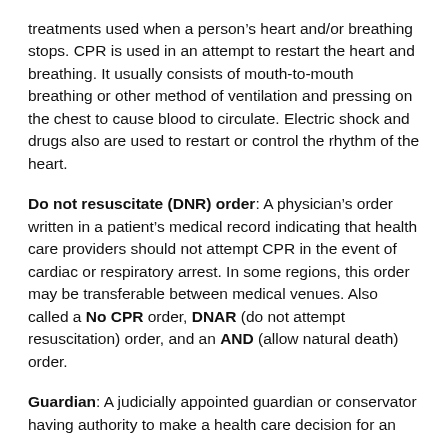treatments used when a person's heart and/or breathing stops. CPR is used in an attempt to restart the heart and breathing. It usually consists of mouth-to-mouth breathing or other method of ventilation and pressing on the chest to cause blood to circulate. Electric shock and drugs also are used to restart or control the rhythm of the heart.
Do not resuscitate (DNR) order: A physician's order written in a patient's medical record indicating that health care providers should not attempt CPR in the event of cardiac or respiratory arrest. In some regions, this order may be transferable between medical venues. Also called a No CPR order, DNAR (do not attempt resuscitation) order, and an AND (allow natural death) order.
Guardian: A judicially appointed guardian or conservator having authority to make a health care decision for an